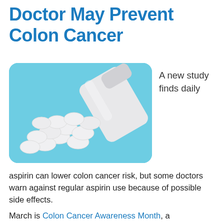Doctor May Prevent Colon Cancer
[Figure (photo): White pill bottle tipped over with white round tablets spilling out onto a light blue background]
A new study finds daily
aspirin can lower colon cancer risk, but some doctors warn against regular aspirin use because of possible side effects.
March is Colon Cancer Awareness Month, a